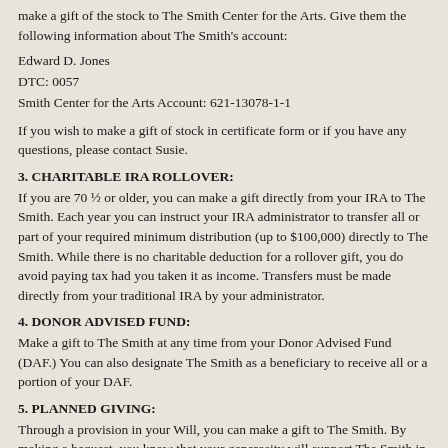make a gift of the stock to The Smith Center for the Arts. Give them the following information about The Smith's account:
Edward D. Jones
DTC: 0057
Smith Center for the Arts Account: 621-13078-1-1
If you wish to make a gift of stock in certificate form or if you have any questions, please contact Susie.
3. CHARITABLE IRA ROLLOVER:
If you are 70 ½ or older, you can make a gift directly from your IRA to The Smith. Each year you can instruct your IRA administrator to transfer all or part of your required minimum distribution (up to $100,000) directly to The Smith. While there is no charitable deduction for a rollover gift, you do avoid paying tax had you taken it as income. Transfers must be made directly from your traditional IRA by your administrator.
4. DONOR ADVISED FUND:
Make a gift to The Smith at any time from your Donor Advised Fund (DAF.) You can also designate The Smith as a beneficiary to receive all or a portion of your DAF.
5. PLANNED GIVING:
Through a provision in your Will, you can make a gift to The Smith. By making a bequest, you know that your generosity will support The Smith in years to come. You might also consider designating The Smith as beneficiary of a retirement plan asset such as an IRA, 401K, 403B, or a